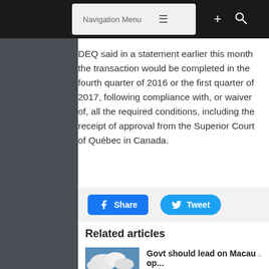Navigation Menu
DEQ said in a statement earlier this month the transaction would be completed in the fourth quarter of 2016 or the first quarter of 2017, following compliance with, or waiver of, all the required conditions, including the receipt of approval from the Superior Court of Québec in Canada.
[Figure (infographic): Social share buttons: Facebook Share button (blue rectangle) and Twitter Tweet button (blue rounded pill)]
Related articles
[Figure (photo): Landscape photo with clouds over flat land]
Govt should lead on Macau op...
Aug 25, 2022